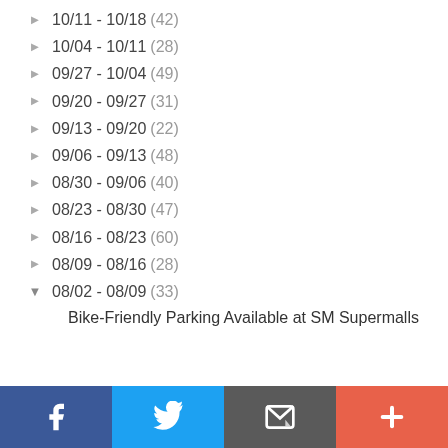10/11 - 10/18 (42)
10/04 - 10/11 (28)
09/27 - 10/04 (49)
09/20 - 09/27 (31)
09/13 - 09/20 (22)
09/06 - 09/13 (48)
08/30 - 09/06 (40)
08/23 - 08/30 (47)
08/16 - 08/23 (60)
08/09 - 08/16 (28)
08/02 - 08/09 (33)
Bike-Friendly Parking Available at SM Supermalls
Facebook | Twitter | Email | More